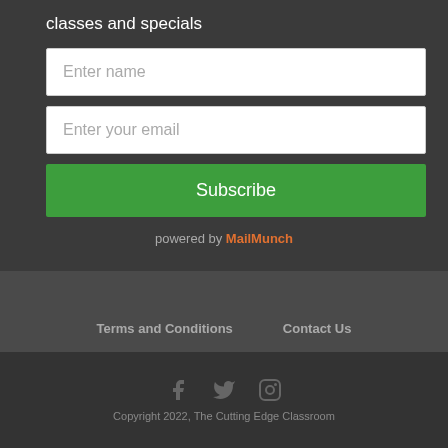classes and specials
[Figure (other): Web form with Enter name input, Enter your email input, and Subscribe button, powered by MailMunch]
powered by MailMunch
Frequently Asked Questions And Policies (FAQ)
Terms and Conditions   Contact Us
[Figure (other): Social media icons: Facebook, Twitter, Instagram]
Copyright 2022, The Cutting Edge Classroom